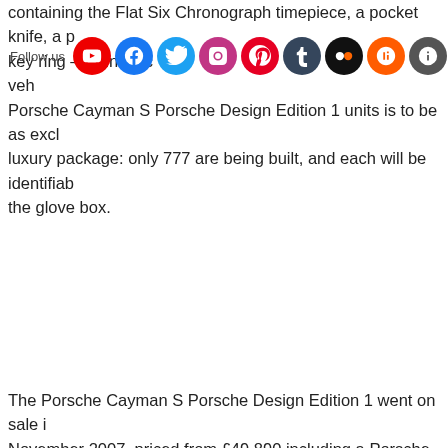containing the Flat Six Chronograph timepiece, a pocket knife, a pen, a key ring – all in black – with an indible, coordinating with the vehicle. Porsche Cayman S Porsche Design Edition 1 units is to be as exclusive as the luxury package: only 777 are being built, and each will be identifiable by the glove box.
The Porsche Cayman S Porsche Design Edition 1 went on sale in November 2007, priced from £49,890 including a Porsche Driving